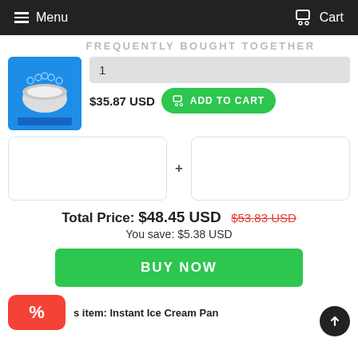Menu   Cart
FREQUENTLY BOUGHT TOGETHER
1
$35.87 USD   ADD TO CART
Total Price:  $48.45 USD  $53.83 USD
You save: $5.38 USD
BUY NOW
s item: Instant Ice Cream Pan